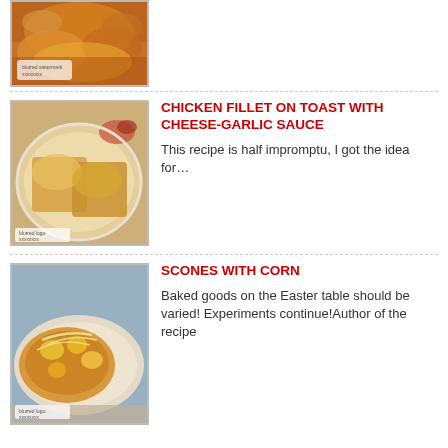[Figure (photo): Top cropped food photo showing baked dish with cheese, partially visible]
[Figure (photo): Chicken fillet on toast with cheese-garlic sauce on a plate]
CHICKEN FILLET ON TOAST WITH CHEESE-GARLIC SAUCE
This recipe is half impromptu, I got the idea for...
[Figure (photo): Scones with corn on a plate]
SCONES WITH CORN
Baked goods on the Easter table should be varied! Experiments continue!Author of the recipe